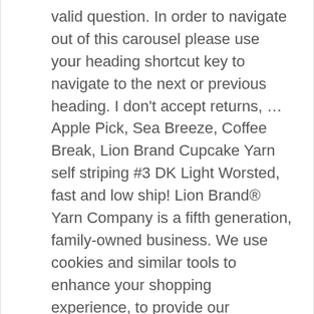valid question. In order to navigate out of this carousel please use your heading shortcut key to navigate to the next or previous heading. I don't accept returns, … Apple Pick, Sea Breeze, Coffee Break, Lion Brand Cupcake Yarn self striping #3 DK Light Worsted, fast and low ship! Lion Brand® Yarn Company is a fifth generation, family-owned business. We use cookies and similar tools to enhance your shopping experience, to provide our services, understand how customers use our services so we can make improvements, and display ads. This pattern uses Mandala, a fun self-striping yarn that creates visual interest and brightens your mood with dynamic color combinations. 217 Cherry Blossom 28 stashed. stashes (2440) … About this yarn Cupcake DK. This yarn is a100% acrylic yarn that has strong stitch definition and comes in beautiful color